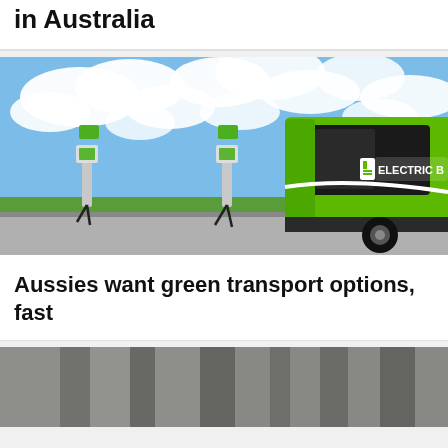in Australia
[Figure (photo): Green electric bus at EV charging stations with blue sky and clouds in background, partially cropped on right side showing 'ELECTRIC B...' text on bus]
Aussies want green transport options, fast
[Figure (photo): Partially visible photo at bottom of page, appears to show a blurred urban/nature scene]